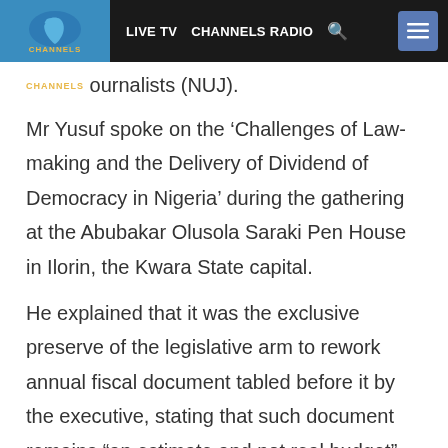LIVE TV   CHANNELS RADIO   [search]   [menu]
ournalists (NUJ).
Mr Yusuf spoke on the ‘Challenges of Law-making and the Delivery of Dividend of Democracy in Nigeria’ during the gathering at the Abubakar Olusola Saraki Pen House in Ilorin, the Kwara State capital.
He explained that it was the exclusive preserve of the legislative arm to rework annual fiscal document tabled before it by the executive, stating that such document remains “an estimate and not real budget”.
The former Chairman of the House of